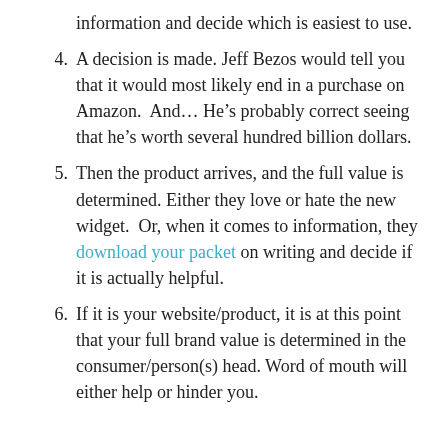information and decide which is easiest to use.
4. A decision is made. Jeff Bezos would tell you that it would most likely end in a purchase on Amazon.  And… He’s probably correct seeing that he’s worth several hundred billion dollars.
5. Then the product arrives, and the full value is determined. Either they love or hate the new widget.  Or, when it comes to information, they download your packet on writing and decide if it is actually helpful.
6. If it is your website/product, it is at this point that your full brand value is determined in the consumer/person(s) head. Word of mouth will either help or hinder you.